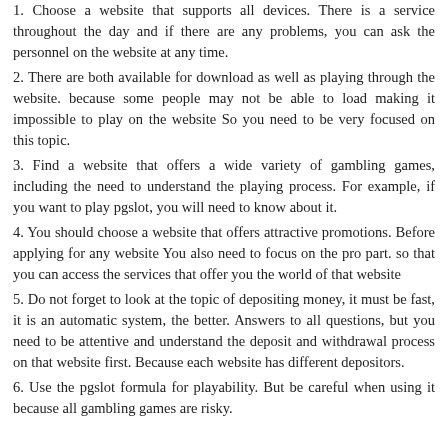1. Choose a website that supports all devices. There is a service throughout the day and if there are any problems, you can ask the personnel on the website at any time.
2. There are both available for download as well as playing through the website. because some people may not be able to load making it impossible to play on the website So you need to be very focused on this topic.
3. Find a website that offers a wide variety of gambling games, including the need to understand the playing process. For example, if you want to play pgslot, you will need to know about it.
4. You should choose a website that offers attractive promotions. Before applying for any website You also need to focus on the pro part. so that you can access the services that offer you the world of that website
5. Do not forget to look at the topic of depositing money, it must be fast, it is an automatic system, the better. Answers to all questions, but you need to be attentive and understand the deposit and withdrawal process on that website first. Because each website has different depositors.
6. Use the pgslot formula for playability. But be careful when using it because all gambling games are risky.